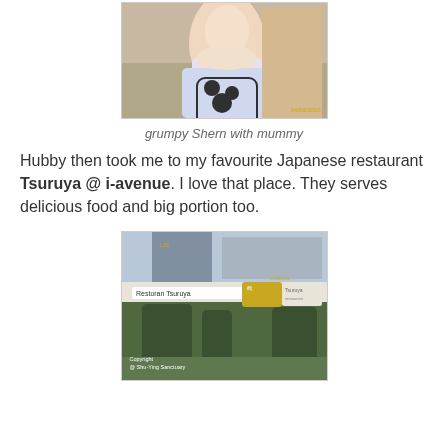[Figure (photo): A baby being held by a woman wearing a black and white patterned dress, partial view, with a timestamp overlay in the bottom right corner.]
grumpy Shern with mummy
Hubby then took me to my favourite Japanese restaurant Tsuruya @ i-avenue. I love that place. They serves delicious food and big portion too.
[Figure (photo): Exterior photo of Restoran Tsuruya Japanese restaurant storefront at i-avenue shopping centre, with signage reading 'Restoran Tsuruya japanese' and Chinese characters, palm trees in front, copyright watermark 'Copyright @ Shu-Ying Sanctuary' and a timestamp in the bottom right corner.]